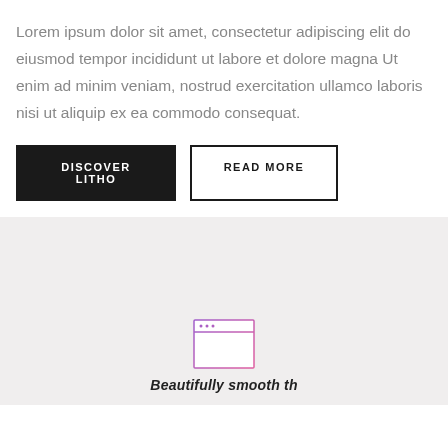Lorem ipsum dolor sit amet, consectetur adipiscing elit do eiusmod tempor incididunt ut labore et dolore magna Ut enim ad minim veniam, nostrud exercitation ullamco laboris nisi ut aliquip ex ea commodo consequat.
DISCOVER LITHO
READ MORE
[Figure (illustration): Small browser window icon with purple/pink outline, showing three small dots at top left of the title bar]
Beautifully smooth th...